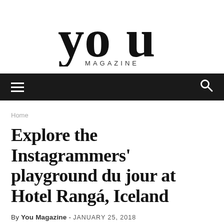[Figure (logo): YOU Magazine logo — large stylized 'you' in serif with 'MAGAZINE' in spaced capitals beneath]
≡   🔍
Home
Explore the Instagrammers' playground du jour at Hotel Rangá, Iceland
By You Magazine - JANUARY 25, 2018